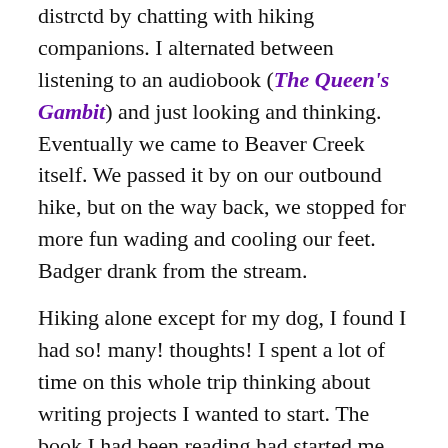distrctd by chatting with hiking companions. I alternated between listening to an audiobook (The Queen's Gambit) and just looking and thinking. Eventually we came to Beaver Creek itself. We passed it by on our outbound hike, but on the way back, we stopped for more fun wading and cooling our feet. Badger drank from the stream.
Hiking alone except for my dog, I found I had so! many! thoughts! I spent a lot of time on this whole trip thinking about writing projects I wanted to start. The book I had been reading had started me down that path, since a lot of it was about Louisa May Alcott's writing ambitions and projects.
When we returned from our hike, I made myself lunch — noodles and sardines, followed by more coffee. As I was packing up to go, a pickup truck pulled up and